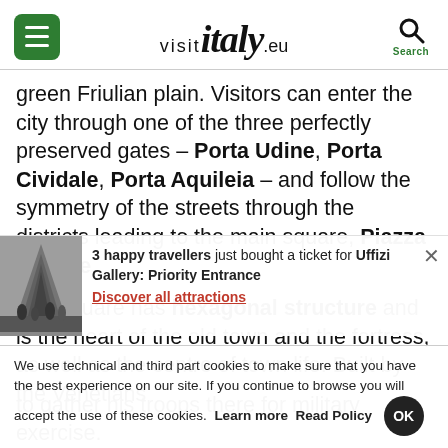visit italy .eu
green Friulian plain. Visitors can enter the city through one of the three perfectly preserved gates – Porta Udine, Porta Cividale, Porta Aquileia – and follow the symmetry of the streets through the districts leading to the main square, Piazza Grande.
The square has hexagonal structure and is the heart of the old town and the fortress, as well as the centre of town life. Built by the Venetians
[Figure (photo): Thumbnail photo of an indoor gallery/arcade with people]
3 happy travellers just bought a ticket for Uffizi Gallery: Priority Entrance
Discover all attractions
We use technical and third part cookies to make sure that you have the best experience on our site. If you continue to browse you will accept the use of these cookies. Learn more Read Policy OK
to gather his troops there for military exercise.